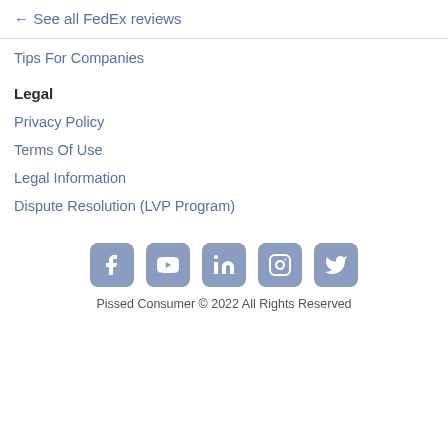← See all FedEx reviews
Tips For Companies
Legal
Privacy Policy
Terms Of Use
Legal Information
Dispute Resolution (LVP Program)
[Figure (illustration): Social media icons: Facebook, YouTube, LinkedIn, Instagram, Twitter]
Pissed Consumer © 2022 All Rights Reserved